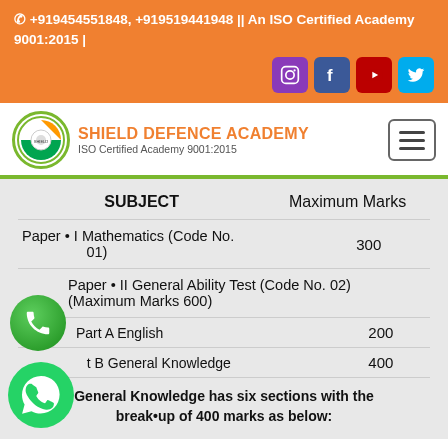📞 +919454551848, +919519441948 || An ISO Certified Academy 9001:2015 |
[Figure (logo): Shield Defence Academy logo with orange text and green border circle, ISO Certified Academy 9001:2015]
| SUBJECT | Maximum Marks |
| --- | --- |
| Paper • I Mathematics (Code No. 01) | 300 |
| Paper • II General Ability Test (Code No. 02) (Maximum Marks 600) |  |
| Part A English | 200 |
| Part B General Knowledge | 400 |
General Knowledge has six sections with the break•up of 400 marks as below: